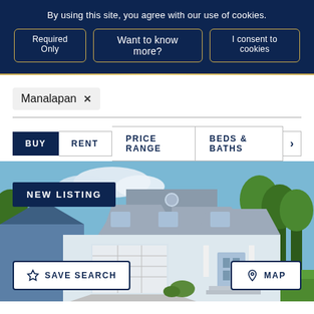By using this site, you agree with our use of cookies.
Required Only
Want to know more?
I consent to cookies
Manalapan ×
BUY
RENT
PRICE RANGE
BEDS & BATHS
[Figure (photo): Two-story white colonial house with garage and green lawn, labeled NEW LISTING]
NEW LISTING
SAVE SEARCH
MAP